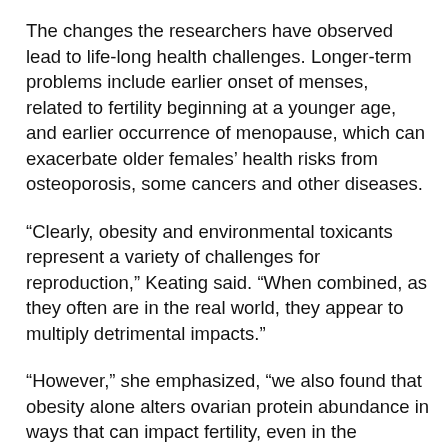The changes the researchers have observed lead to life-long health challenges. Longer-term problems include earlier onset of menses, related to fertility beginning at a younger age, and earlier occurrence of menopause, which can exacerbate older females’ health risks from osteoporosis, some cancers and other diseases.
“Clearly, obesity and environmental toxicants represent a variety of challenges for reproduction,” Keating said. “When combined, as they often are in the real world, they appear to multiply detrimental impacts.”
“However,” she emphasized, “we also found that obesity alone alters ovarian protein abundance in ways that can impact fertility, even in the absence of harmful chemicals.”
Keating’s current research is funded by a five-year R01 grant for over $2 million from the National Institute of